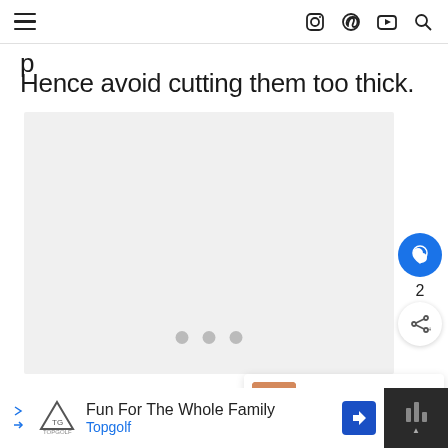[Navigation bar with hamburger menu, Instagram, Pinterest, YouTube, Search icons]
Hence avoid cutting them too thick.
[Figure (photo): Large gray placeholder image area with three loading dots centered at the bottom]
WHAT'S NEXT → Can You Freeze...
Fun For The Whole Family Topgolf [advertisement]